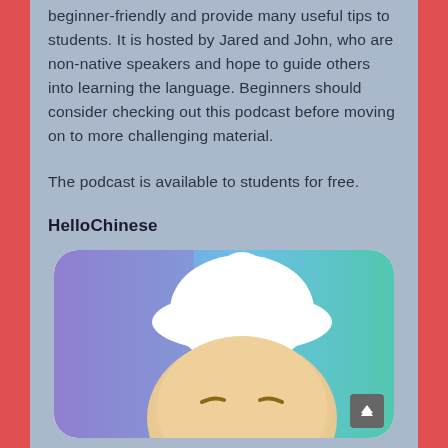beginner-friendly and provide many useful tips to students. It is hosted by Jared and John, who are non-native speakers and hope to guide others into learning the language. Beginners should consider checking out this podcast before moving on to more challenging material.
The podcast is available to students for free.
HelloChinese
[Figure (illustration): HelloChinese app icon showing a cartoon character with a round face, white hat/dome shape on top, against a gradient background of blue, purple, and green/teal colors. The image is partially cropped at the bottom.]